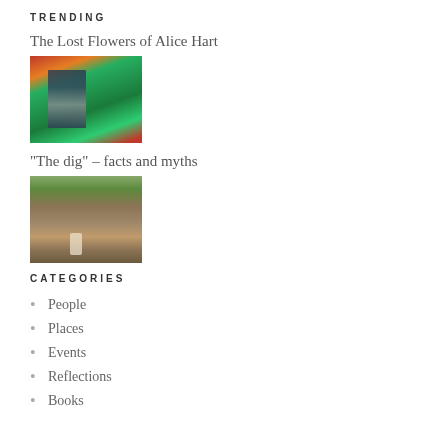TRENDING
The Lost Flowers of Alice Hart
[Figure (photo): A person holding a book with green foliage and flowers in the background, warm orange and red tones]
“The dig” – facts and myths
[Figure (photo): Two figures walking through an earthy, excavated landscape with green hills in the background]
CATEGORIES
People
Places
Events
Reflections
Books